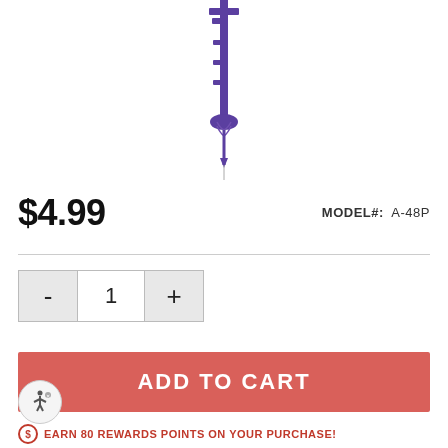[Figure (photo): Purple anchor/screw stake product image on white background — a long thin purple metal ground anchor with screw tip pointing downward]
$4.99
MODEL#:  A-48P
ADD TO CART
EARN 80 REWARDS POINTS ON YOUR PURCHASE!